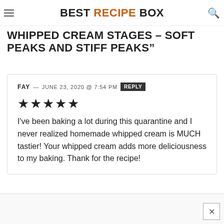BEST RECIPE BOX
WHIPPED CREAM STAGES – SOFT PEAKS AND STIFF PEAKS"
FAY — JUNE 23, 2020 @ 7:54 PM REPLY
★★★★★
I've been baking a lot during this quarantine and I never realized homemade whipped cream is MUCH tastier! Your whipped cream adds more deliciousness to my baking. Thank for the recipe!